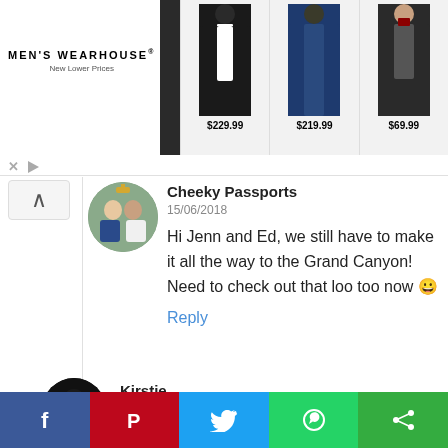[Figure (screenshot): Men's Wearhouse advertisement banner showing suits with prices $229.99, $219.99, $69.99]
Cheeky Passports
15/06/2018
Hi Jenn and Ed, we still have to make it all the way to the Grand Canyon! Need to check out that loo too now 😀
Reply
Kirstie
01/04/2018
[Figure (infographic): Social share bar with Facebook, Pinterest, Twitter, WhatsApp, and another share button]